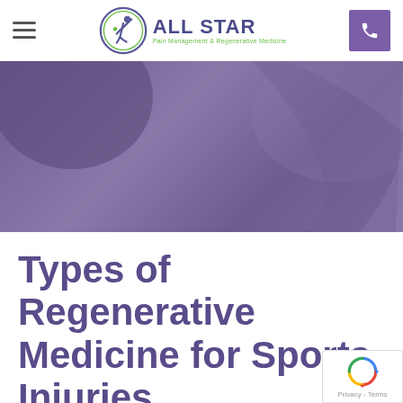ALL STAR Pain Management & Regenerative Medicine — navigation header with logo, hamburger menu, and phone button
[Figure (photo): Purple-toned hero banner image showing anatomical/sports injury background with purple overlay]
Types of Regenerative Medicine for Sports Injuries